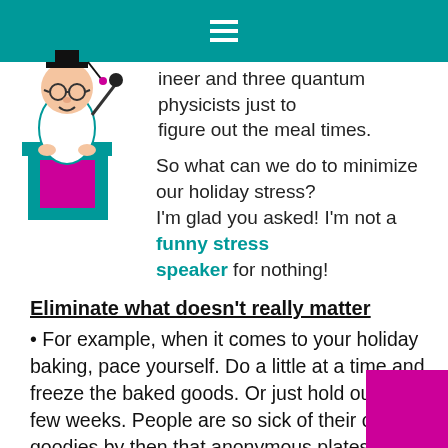≡
[Figure (illustration): Cartoon mascot of a professor/speaker at a podium with glasses and a microphone]
…ineer and three quantum physicists just to figure out the meal times.
So what can we do to minimize our holiday stress? I'm glad you asked! I'm not a funny stress speaker for nothing!
Eliminate what doesn't really matter
• For example, when it comes to your holiday baking, pace yourself. Do a little at a time and freeze the baked goods. Or just hold out for a few weeks. People are so sick of their own goodies by then that anonymous plates will begin showing up on your doorstep.
Plan ahead
• Make lists, but don't panic if you don't get to…